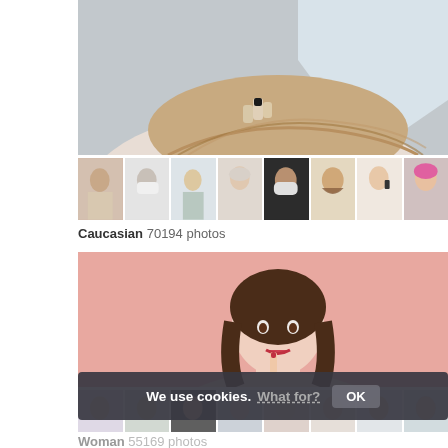[Figure (photo): Top hero image showing close-up of a person's blonde hair being touched by hand with dark nail polish, against a grey/blue background]
[Figure (photo): Thumbnail strip of 8 small portraits showing various people]
Caucasian  70194 photos
[Figure (photo): Hero image of a young brunette woman on pink background touching her lip thoughtfully]
[Figure (photo): Second thumbnail strip of small portraits partially obscured by cookie bar]
Woman  55169 photos
We use cookies.  What for?  OK